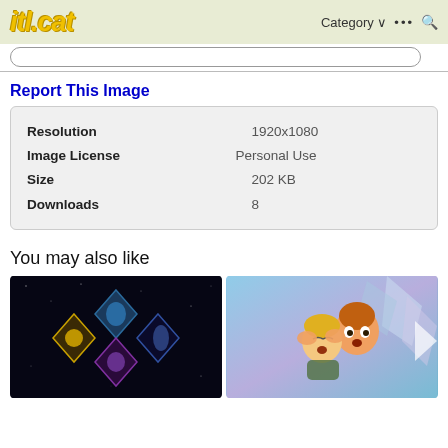itl.cat | Category ... (search icon)
Report This Image
| Resolution | 1920x1080 |
| Image License | Personal Use |
| Size | 202 KB |
| Downloads | 8 |
You may also like
[Figure (photo): Dark space background with four diamond-shaped emblems arranged in a diamond pattern - featuring blue, yellow, green and purple colored symbols]
[Figure (photo): Animated cartoon scene showing two characters - one with orange/brown hair hugging or grabbing another blonde character, with a crystalline light blue and purple geometric background]